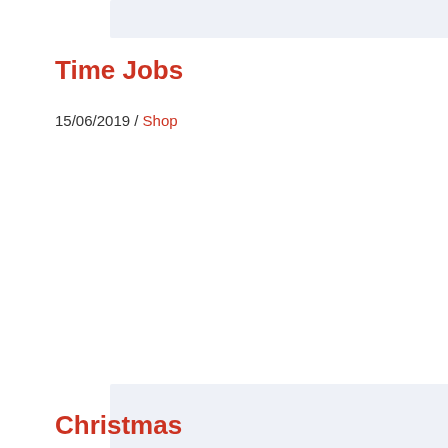[Figure (other): Top placeholder image area with light blue-grey background]
Time Jobs
15/06/2019  /  Shop
[Figure (photo): Main content image placeholder with light blue-grey background]
Christmas